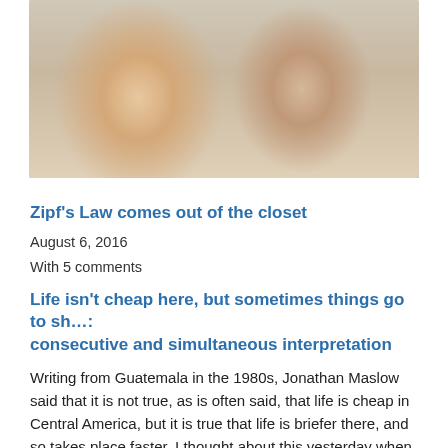[Figure (photo): A selfie photo of two people: a woman on the left wearing a white surgical cap and a man on the right wearing a blue surgical mask pulled down below his chin, taken indoors.]
Zipf's Law comes out of the closet
August 6, 2016
With 5 comments
Life isn't cheap here, but sometimes things go to sh…: consecutive and simultaneous interpretation
Writing from Guatemala in the 1980s, Jonathan Maslow said that it is not true, as is often said, that life is cheap in Central America, but it is true that life is briefer there, and so takes place faster. I thought about this yesterday when a conversation went completely to…
August 10, 2016